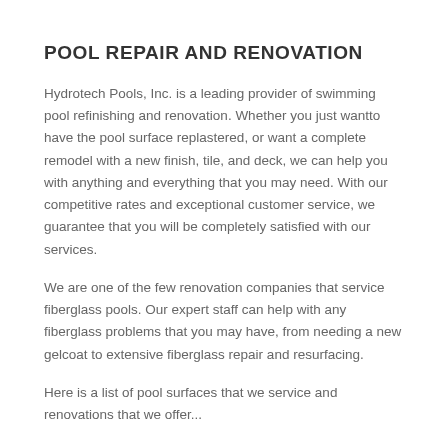POOL REPAIR AND RENOVATION
Hydrotech Pools, Inc. is a leading provider of swimming pool refinishing and renovation. Whether you just wantto have the pool surface replastered, or want a complete remodel with a new finish, tile, and deck, we can help you with anything and everything that you may need. With our competitive rates and exceptional customer service, we guarantee that you will be completely satisfied with our services.
We are one of the few renovation companies that service fiberglass pools. Our expert staff can help with any fiberglass problems that you may have, from needing a new gelcoat to extensive fiberglass repair and resurfacing.
Here is a list of pool surfaces that we service and renovations that we offer...